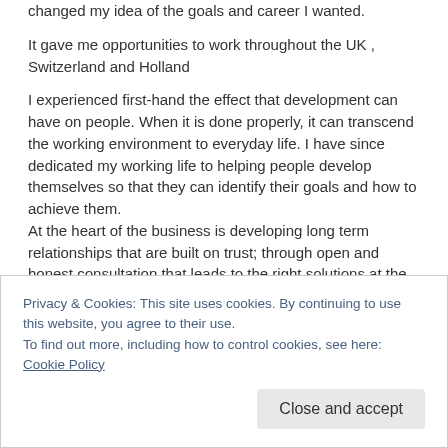changed my idea of the goals and career I wanted.
It gave me opportunities to work throughout the UK , Switzerland and Holland
I experienced first-hand the effect that development can have on people. When it is done properly, it can transcend the working environment to everyday life. I have since dedicated my working life to helping people develop themselves so that they can identify their goals and how to achieve them.
At the heart of the business is developing long term relationships that are built on trust; through open and honest consultation that leads to the right solutions at the right time and using the most effective medium.
Privacy & Cookies: This site uses cookies. By continuing to use this website, you agree to their use.
To find out more, including how to control cookies, see here: Cookie Policy
Close and accept